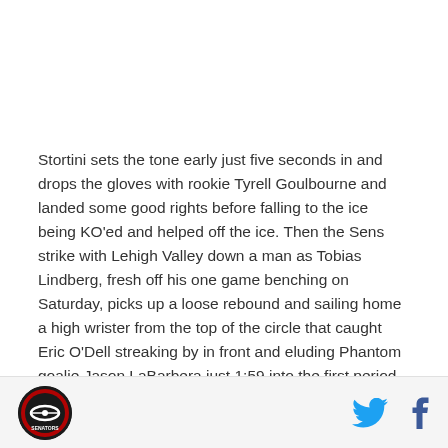Stortini sets the tone early just five seconds in and drops the gloves with rookie Tyrell Goulbourne and landed some good rights before falling to the ice being KO'ed and helped off the ice. Then the Sens strike with Lehigh Valley down a man as Tobias Lindberg, fresh off his one game benching on Saturday, picks up a loose rebound and sailing home a high wrister from the top of the circle that caught Eric O'Dell streaking by in front and eluding Phantom goalie Jason LaBarbera just 1:59 into the first period for a 1-0 lead.
[Figure (logo): Circular team logo with hockey imagery on dark background]